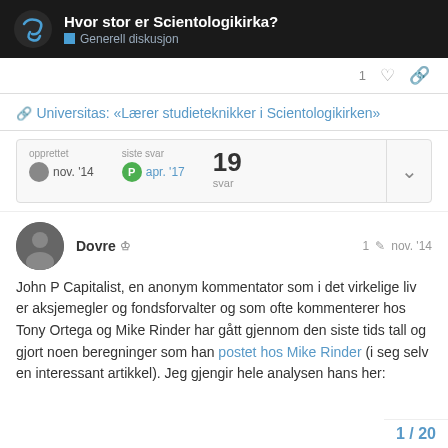Hvor stor er Scientologikirka? | Generell diskusjon
1 ♡ 🔗
🔗 Universitas: «Lærer studieteknikker i Scientologikirken»
| opprettet | siste svar | svar |
| --- | --- | --- |
| nov. '14 | apr. '17 | 19 |
Dovre 🛡  1 ✏ nov. '14
John P Capitalist, en anonym kommentator som i det virkelige liv er aksjemegler og fondsforvalter og som ofte kommenterer hos Tony Ortega og Mike Rinder har gått gjennom den siste tids tall og gjort noen beregninger som han postet hos Mike Rinder (i seg selv en interessant artikkel). Jeg gjengir hele analysen hans her:
1 / 20